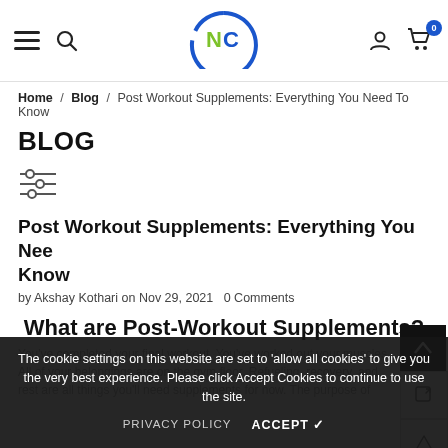Navigation bar with hamburger menu, search icon, NVC logo, user icon, cart (0)
Home / Blog / Post Workout Supplements: Everything You Need To Know
BLOG
[Figure (other): Filter/sliders icon]
Post Workout Supplements: Everything You Nee Know
by Akshay Kothari on Nov 29, 2021   0 Comments
What are Post-Workout Supplements?
You've completed your final workout. You've worked out your muscles. All of your belongings are on the gym floor. Refueling, recovery, and rest are all things you'll need supplements for now. The purpose of
The cookie settings on this website are set to 'allow all cookies' to give you the very best experience. Please click Accept Cookies to continue to use the site.
PRIVACY POLICY   ACCEPT ✓